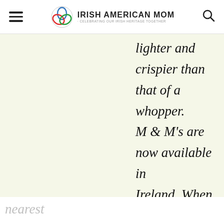Irish American Mom - Celebrating Our Irish Heritage Together
| M & M's | Smarties | Description |
| --- | --- | --- |
|  |  | lighter and crispier than that of a whopper. M & M's are now available in Ireland. When I was young a Smartie was the nearest |
nearest